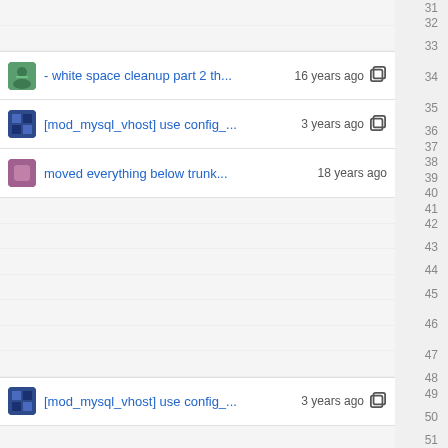31
32
- white space cleanup part 2 th... 16 years ago  33
[mod_mysql_vhost] use config_... 3 years ago  34
moved everything below trunk... 18 years ago  35
36
37
38
39
40
41
42
[mod_mysql_vhost] use config_... 3 years ago  43
44
moved everything below trunk... 18 years ago  45
[mod_mysql_vhost] use config_... 3 years ago  46
[multiple] plugin.c handles com... 3 years ago  47
48
49
[mod_mysql_vhost] use config_... 3 years ago  50
51